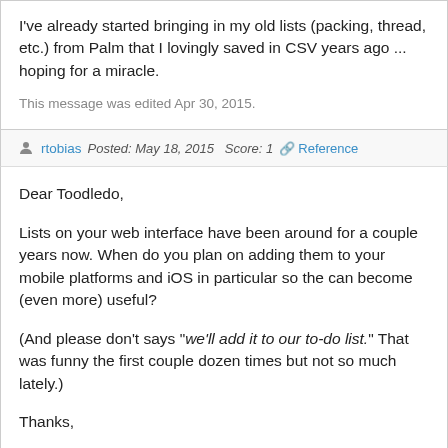I've already started bringing in my old lists (packing, thread, etc.) from Palm that I lovingly saved in CSV years ago ... hoping for a miracle.
This message was edited Apr 30, 2015.
rtobias   Posted: May 18, 2015   Score: 1   🔗 Reference
Dear Toodledo,

Lists on your web interface have been around for a couple years now. When do you plan on adding them to your mobile platforms and iOS in particular so the can become (even more) useful?

(And please don't says "we'll add it to our to-do list." That was funny the first couple dozen times but not so much lately.)

Thanks,

Bob